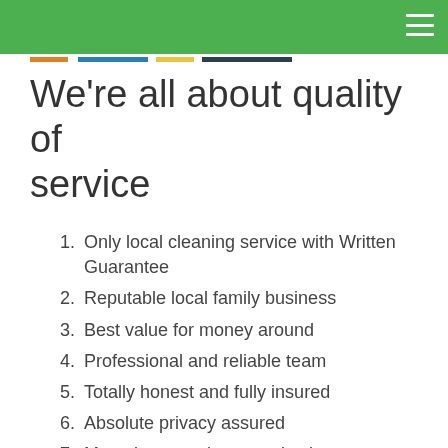We're all about quality of service
Only local cleaning service with Written Guarantee
Reputable local family business
Best value for money around
Professional and reliable team
Totally honest and fully insured
Absolute privacy assured
Most rigorous cleaner selection process around